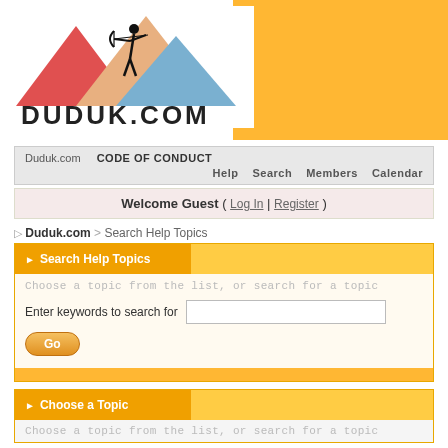[Figure (logo): Duduk.com logo with archer silhouette and mountain shapes in red, blue, orange]
Duduk.com   CODE OF CONDUCT   Help   Search   Members   Calendar
Welcome Guest ( Log In | Register )
▷ Duduk.com > Search Help Topics
▶ Search Help Topics
Choose a topic from the list, or search for a topic
Enter keywords to search for
▶ Choose a Topic
Choose a topic from the list, or search for a topic